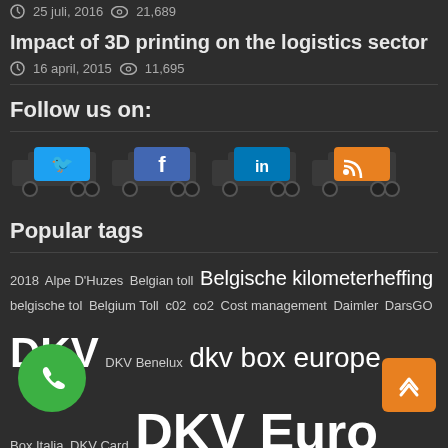25 juli, 2016  21,689
Impact of 3D printing on the logistics sector
16 april, 2015  11,695
Follow us on:
[Figure (illustration): Four social media truck icons: Twitter (blue), Facebook (blue), LinkedIn (blue), RSS (orange)]
Popular tags
2018 Alpe D'Huzes Belgian toll Belgische kilometerheffing belgische tol Belgium Toll c02 co2 Cost management Daimler DarsGO DKV DKV Benelux dkv box europe DKV Box Italia DKV Card DKV Euro Service DSRC Eco Performance Award EETS emobility eReporting faq fuel Fuel card future Gertjan Breij GNSS Kilometerheffing logistics logistics sector logistiek OBU refund Satellic T-Systems tankkaart tankpas tol toll Toll4Europe tolls